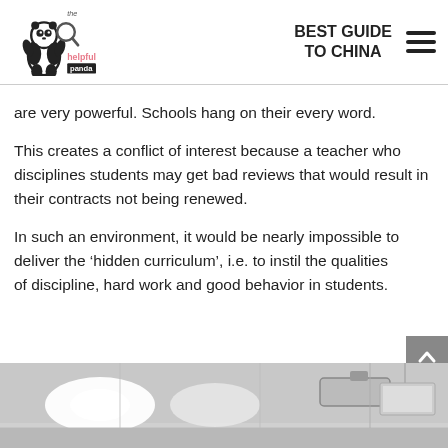the helpful panda | BEST GUIDE TO CHINA
are very powerful. Schools hang on their every word.
This creates a conflict of interest because a teacher who disciplines students may get bad reviews that would result in their contracts not being renewed.
In such an environment, it would be nearly impossible to deliver the ‘hidden curriculum’, i.e. to instil the qualities of discipline, hard work and good behavior in students.
[Figure (photo): Classroom interior with ceiling lights and a projector screen, viewed from below]